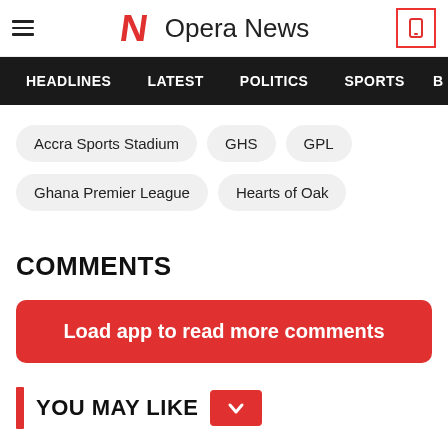Opera News
HEADLINES  LATEST  POLITICS  SPORTS
Accra Sports Stadium
GHS
GPL
Ghana Premier League
Hearts of Oak
COMMENTS
Load app to read more comments
YOU MAY LIKE